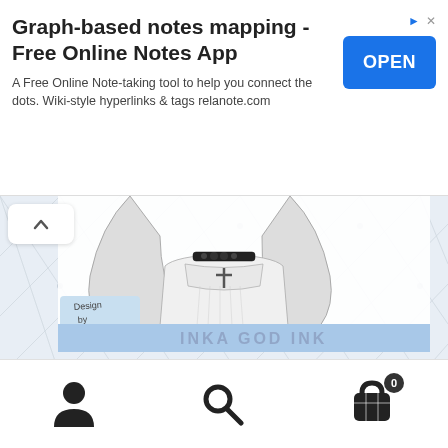[Figure (screenshot): Advertisement banner for Graph-based notes mapping app with OPEN button]
Graph-based notes mapping - Free Online Notes App
A Free Online Note-taking tool to help you connect the dots. Wiki-style hyperlinks & tags relanote.com
[Figure (illustration): Devil Girl Satanic Goth Choker Black illustration - anime-style figure with choker and cross pendant]
Devil Girl, Satanic Goth Choker Blac...  $2.00
Tiki9 in Graphics, Illustrations
Add to cart
[Figure (other): Bottom navigation bar with user profile icon, search icon, and shopping cart icon with badge showing 0]